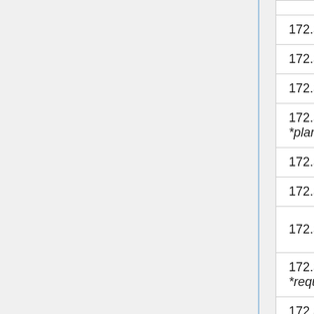| IP Range | Name |
| --- | --- |
| 172.31.22.0/24 | haegar_vlad |
| 172.31.23.0/24 | *reserved* |
| 172.31.24.0/23 | LondonHackspace |
| 172.31.26.0/23 *planned* | Leeds Hackspace |
| 172.31.28.0/24 | miefda |
| 172.31.29.0/24 | PhoenixHaven |
| 172.31.30.0/24 | desc |
| 172.31.31.0/24 *requested* | freitagsrunde |
| 172.31.32.0/23 *planned* | Nottingham Hackspace |
| 172.31.34.0/23 | project2501 |
| 172.31.36.0/24 | madtetsuo |
| 172.31.37.0/24 | r3vv7 |